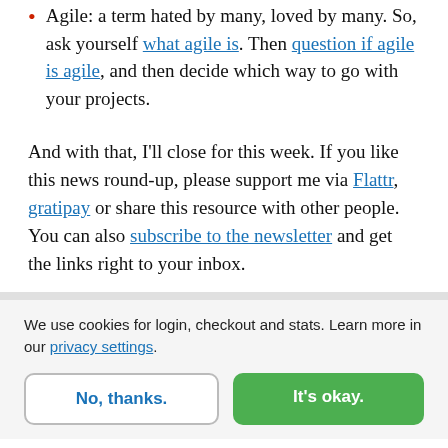Agile: a term hated by many, loved by many. So, ask yourself what agile is. Then question if agile is agile, and then decide which way to go with your projects.
And with that, I'll close for this week. If you like this news round-up, please support me via Flattr, gratipay or share this resource with other people. You can also subscribe to the newsletter and get the links right to your inbox.
We use cookies for login, checkout and stats. Learn more in our privacy settings.